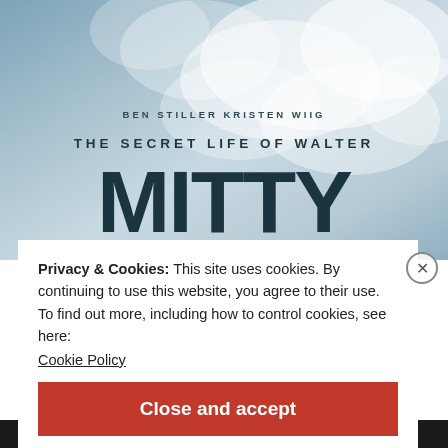[Figure (photo): Movie poster for 'The Secret Life of Walter Mitty' starring Ben Stiller and Kristen Wiig. Blue-grey cloudy sky background with large dark teal title text.]
Privacy & Cookies: This site uses cookies. By continuing to use this website, you agree to their use.
To find out more, including how to control cookies, see here:
Cookie Policy
Close and accept